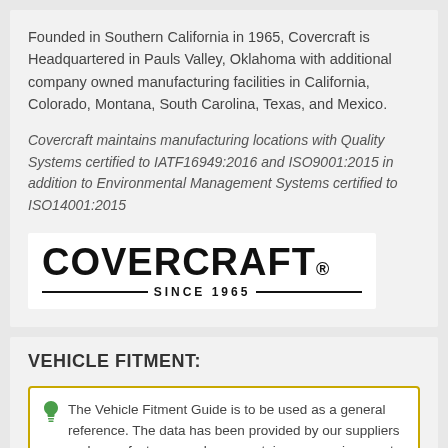Founded in Southern California in 1965, Covercraft is Headquartered in Pauls Valley, Oklahoma with additional company owned manufacturing facilities in California, Colorado, Montana, South Carolina, Texas, and Mexico.
Covercraft maintains manufacturing locations with Quality Systems certified to IATF16949:2016 and ISO9001:2015 in addition to Environmental Management Systems certified to ISO14001:2015
[Figure (logo): Covercraft logo with bold text 'COVERCRAFT.' and 'SINCE 1965' tagline with decorative lines]
VEHICLE FITMENT:
The Vehicle Fitment Guide is to be used as a general reference. The data has been provided by our suppliers and manufacturers and may contain errors or incorrect data. Always refer to a professional to verify correct fitment for your